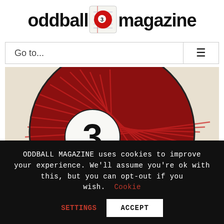[Figure (logo): Oddball Magazine logo with red billiard ball number 3 in the center of the text]
Go to...
[Figure (illustration): Close-up hand-drawn illustration of a red billiard ball with number 3 on a white circle]
ODDBALL MAGAZINE uses cookies to improve your experience. We'll assume you're ok with this, but you can opt-out if you wish. Cookie settings ACCEPT